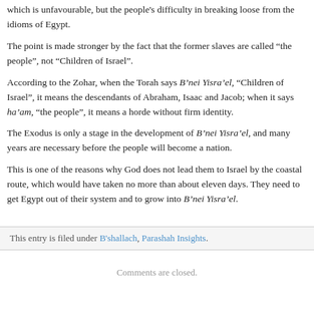which is unfavourable, but the people's difficulty in breaking loose from the idiom of Egypt.
The point is made stronger by the fact that the former slaves are called “the people”, not Children of Israel”.
According to the Zohar, when the Torah says B’nei Yisra’el, “Children of Israel”, it means the descendants of Abraham, Isaac and Jacob; when it says ha’am, “the people”, it means a horde without firm identity.
The Exodus is only a stage in the development of B’nei Yisra’el, and many years are necessary before the people will become a nation.
This is one of the reasons why God does not lead them to Israel by the coastal route, which would have taken no more than about eleven days. They need to get Egypt out of their system and to grow into B’nei Yisra’el.
This entry is filed under B’shallach, Parashah Insights.
Comments are closed.